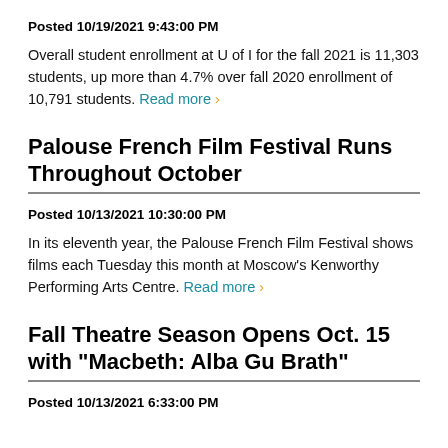Posted 10/19/2021 9:43:00 PM
Overall student enrollment at U of I for the fall 2021 is 11,303 students, up more than 4.7% over fall 2020 enrollment of 10,791 students. Read more ›
Palouse French Film Festival Runs Throughout October
Posted 10/13/2021 10:30:00 PM
In its eleventh year, the Palouse French Film Festival shows films each Tuesday this month at Moscow's Kenworthy Performing Arts Centre. Read more ›
Fall Theatre Season Opens Oct. 15 with "Macbeth: Alba Gu Brath"
Posted 10/13/2021 6:33:00 PM